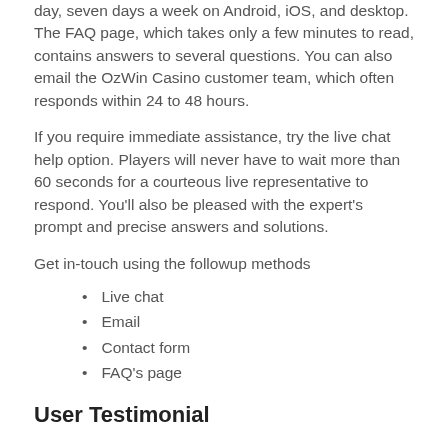day, seven days a week on Android, iOS, and desktop. The FAQ page, which takes only a few minutes to read, contains answers to several questions. You can also email the OzWin Casino customer team, which often responds within 24 to 48 hours.
If you require immediate assistance, try the live chat help option. Players will never have to wait more than 60 seconds for a courteous live representative to respond. You'll also be pleased with the expert's prompt and precise answers and solutions.
Get in-touch using the followup methods
Live chat
Email
Contact form
FAQ's page
User Testimonial